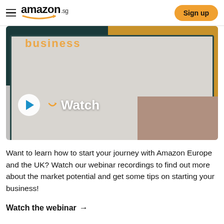amazon.sg  Sign up
[Figure (screenshot): Video thumbnail showing a laptop screen with 'business' text, Amazon arrow logo, play button and 'Watch' label overlaid, on a background of teal, gold, and mauve shapes]
Want to learn how to start your journey with Amazon Europe and the UK? Watch our webinar recordings to find out more about the market potential and get some tips on starting your business!
Watch the webinar →